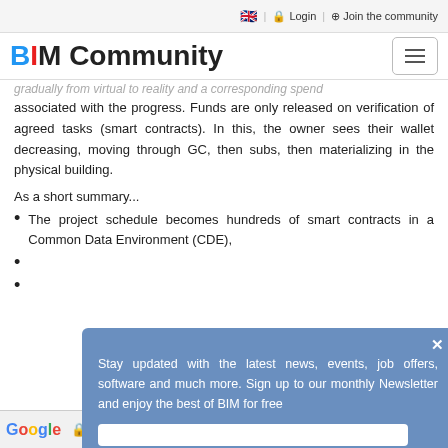🇬🇧 | 🔒 Login | ⊕ Join the community
[Figure (logo): BIM Community logo with hamburger menu icon]
gradually from virtual to reality and a corresponding spend associated with the progress. Funds are only released on verification of agreed tasks (smart contracts). In this, the owner sees their wallet decreasing, moving through GC, then subs, then materializing in the physical building.
As a short summary...
The project schedule becomes hundreds of smart contracts in a Common Data Environment (CDE),
[Figure (screenshot): Popup overlay: Stay updated with the latest news, events, job offers, software and much more. Sign up to our monthly Newsletter and enjoy the best of BIM for free]
Google Translated to: English ▼  Show original  Options ▼  ×